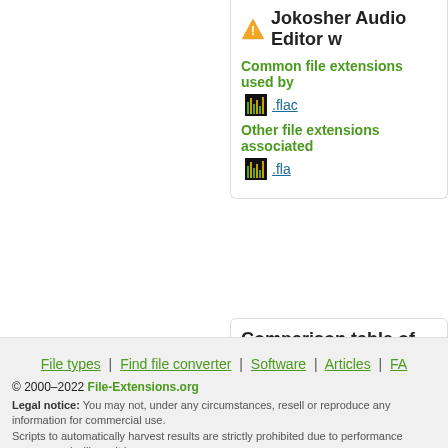Jokosher Audio Editor w...
Common file extensions used by...
.flac
Other file extensions associated...
.fla
Comparison table of actions that...
beta
This table might not contain all possible a... If you need more information please conta...
| File type \ Action | Open | Save | Edit | View | Pl... |
| --- | --- | --- | --- | --- | --- |
| fla | ✔ | ✔ | ✔ | - | - |
| flac | ✔ | ✔ | ✔ | - | - |
File types | Find file converter | Software | Articles | FA...
© 2000–2022 File-Extensions.org
Legal notice: You may not, under any circumstances, resell or reproduce any information for commercial use. Scripts to automatically harvest results are strictly prohibited due to performance reasons and will result in yo...